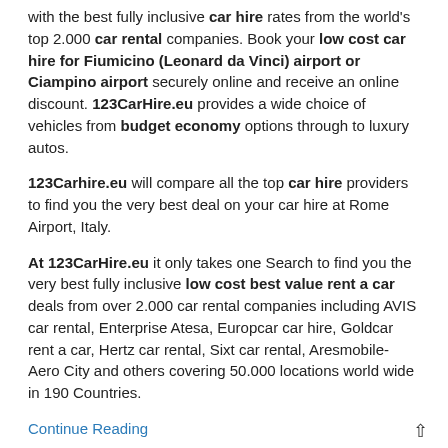with the best fully inclusive car hire rates from the world's top 2.000 car rental companies. Book your low cost car hire for Fiumicino (Leonard da Vinci) airport or Ciampino airport securely online and receive an online discount. 123CarHire.eu provides a wide choice of vehicles from budget economy options through to luxury autos.
123Carhire.eu will compare all the top car hire providers to find you the very best deal on your car hire at Rome Airport, Italy.
At 123CarHire.eu it only takes one Search to find you the very best fully inclusive low cost best value rent a car deals from over 2.000 car rental companies including AVIS car rental, Enterprise Atesa, Europcar car hire, Goldcar rent a car, Hertz car rental, Sixt car rental, Aresmobile-Aero City and others covering 50.000 locations world wide in 190 Countries.
Continue Reading